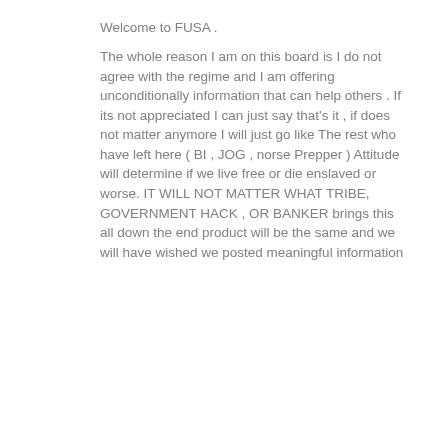Welcome to FUSA . The whole reason I am on this board is I do not agree with the regime and I am offering unconditionally information that can help others . If its not appreciated I can just say that's it , if does not matter anymore I will just go like The rest who have left here ( BI , JOG , norse Prepper ) Attitude will determine if we live free or die enslaved or worse. IT WILL NOT MATTER WHAT TRIBE, GOVERNMENT HACK , OR BANKER brings this all down the end product will be the same and we will have wished we posted meaningful information